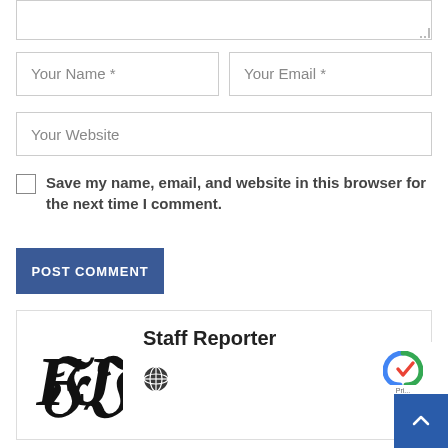[Figure (screenshot): Web comment form showing a textarea (partially visible at top), two input fields (Your Name *, Your Email *), a website input field (Your Website), a checkbox with label 'Save my name, email, and website in this browser for the next time I comment.', a POST COMMENT button, and an author card with FJ newspaper logo and Staff Reporter name with a globe icon. Bottom right shows a reCAPTCHA badge and a blue scroll-to-top button.]